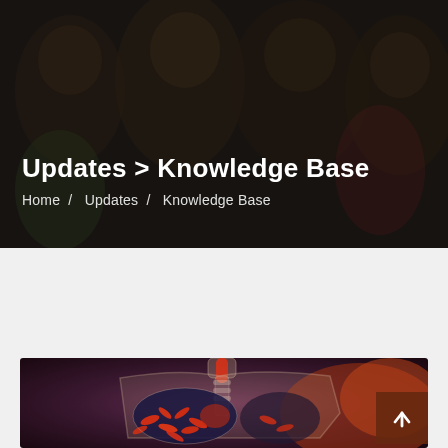[Figure (photo): Dark-toned photo of smiling children in the background, used as hero banner image]
Updates > Knowledge Base
Home / Updates / Knowledge Base
[Figure (illustration): Medical illustration showing a transparent human torso with lungs and red/orange bacteria visible inside, set against a dark reddish background. A dark brown scroll-to-top arrow button is visible in the bottom right corner.]